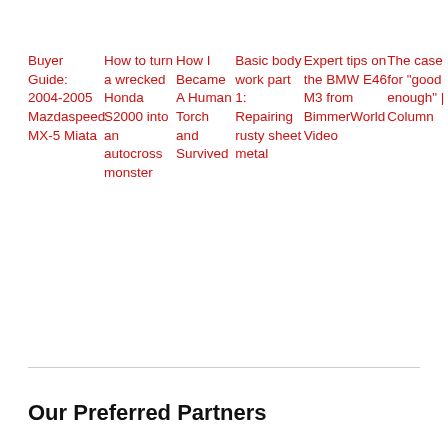Buyer Guide: 2004-2005 Mazdaspeed MX-5 Miata | How to turn a wrecked Honda S2000 into an autocross monster | How I Became A Human Torch and Survived | Basic body work part 1: Repairing rusty sheet metal | Expert tips on the BMW E46 M3 from BimmerWorld Video | The case for "good enough" | Column
Our Preferred Partners